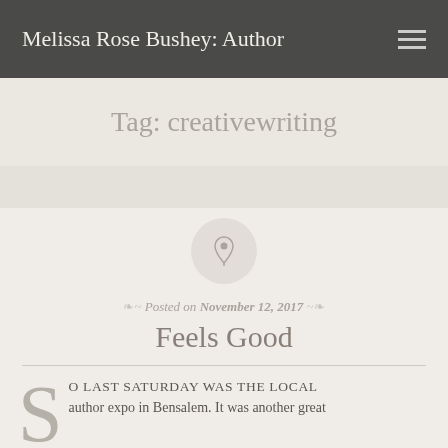Melissa Rose Bushey: Author
Tag: creativewriting
Posted on November 12, 2017
Feels Good
So last Saturday was the local author expo in Bensalem. It was another great